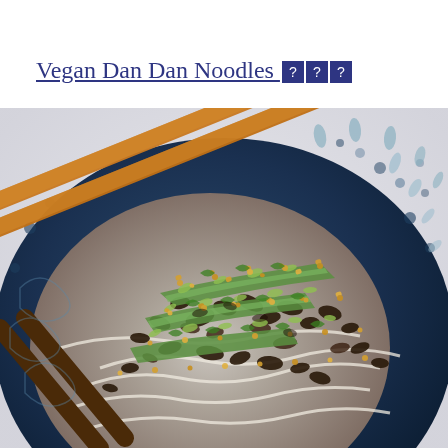Vegan Dan Dan Noodles 🟦🟦🟦
[Figure (photo): Overhead close-up photo of a blue ceramic bowl containing vegan dan dan noodles topped with chopped peanuts, sliced green onions, cilantro, cucumber, dark spiced crumbles, and resting chopsticks angled diagonally across the bowl.]